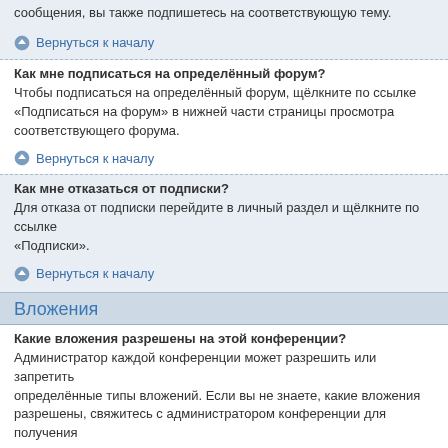сообщения, вы также подпишетесь на соответствующую тему.
Вернуться к началу
Как мне подписаться на определённый форум?
Чтобы подписаться на определённый форум, щёлкните по ссылке «Подписаться на форум» в нижней части страницы просмотра соответствующего форума.
Вернуться к началу
Как мне отказаться от подписки?
Для отказа от подписки перейдите в личный раздел и щёлкните по ссылке «Подписки».
Вернуться к началу
Вложения
Какие вложения разрешены на этой конференции?
Администратор каждой конференции может разрешить или запретить определённые типы вложений. Если вы не знаете, какие вложения разрешены, свяжитесь с администратором конференции для получения помощи.
Вернуться к началу